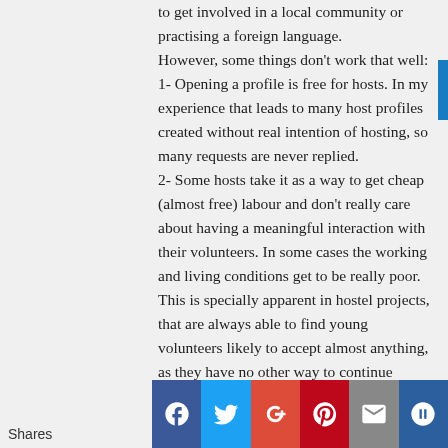to get involved in a local community or practising a foreign language.
However, some things don't work that well:
1- Opening a profile is free for hosts. In my experience that leads to many host profiles created without real intention of hosting, so many requests are never replied.
2- Some hosts take it as a way to get cheap (almost free) labour and don't really care about having a meaningful interaction with their volunteers. In some cases the working and living conditions get to be really poor.
This is specially apparent in hostel projects, that are always able to find young volunteers likely to accept almost anything, as they have no other way to continue travelling.
3- Point 3 couldn't be such a serious issue with
Shares